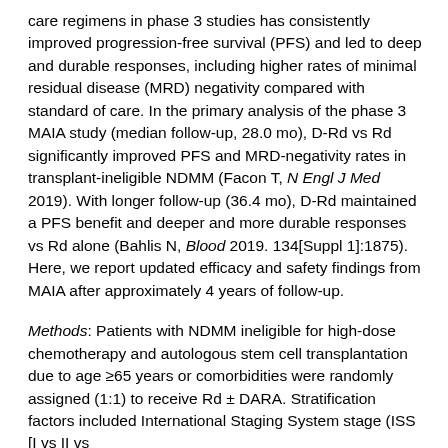care regimens in phase 3 studies has consistently improved progression-free survival (PFS) and led to deep and durable responses, including higher rates of minimal residual disease (MRD) negativity compared with standard of care. In the primary analysis of the phase 3 MAIA study (median follow-up, 28.0 mo), D-Rd vs Rd significantly improved PFS and MRD-negativity rates in transplant-ineligible NDMM (Facon T, N Engl J Med 2019). With longer follow-up (36.4 mo), D-Rd maintained a PFS benefit and deeper and more durable responses vs Rd alone (Bahlis N, Blood 2019. 134[Suppl 1]:1875). Here, we report updated efficacy and safety findings from MAIA after approximately 4 years of follow-up.
Methods: Patients with NDMM ineligible for high-dose chemotherapy and autologous stem cell transplantation due to age ≥65 years or comorbidities were randomly assigned (1:1) to receive Rd ± DARA. Stratification factors included International Staging System stage (ISS [I vs II vs